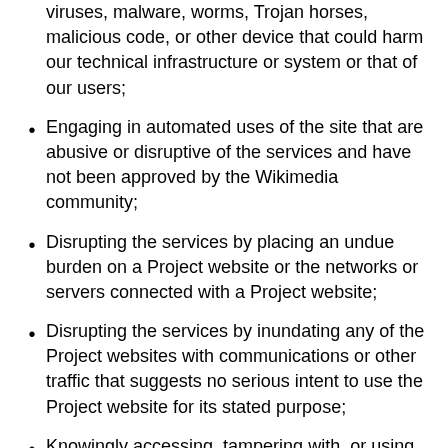viruses, malware, worms, Trojan horses, malicious code, or other device that could harm our technical infrastructure or system or that of our users;
Engaging in automated uses of the site that are abusive or disruptive of the services and have not been approved by the Wikimedia community;
Disrupting the services by placing an undue burden on a Project website or the networks or servers connected with a Project website;
Disrupting the services by inundating any of the Project websites with communications or other traffic that suggests no serious intent to use the Project website for its stated purpose;
Knowingly accessing, tampering with, or using any of our non-public areas in our computer systems without authorization; and